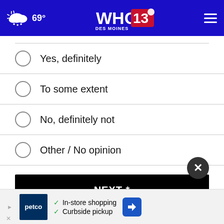WHO 13 Des Moines — 69° weather header
Yes, definitely
To some extent
No, definitely not
Other / No opinion
NEXT *
* By clicking "NEXT" you agree to the following: We use cookies to track your survey answers. If you would like to continue with this survey, please read and agree to CivicScience Privacy Policy and Terms of Service.
[Figure (screenshot): Petco advertisement banner with in-store shopping and curbside pickup options]